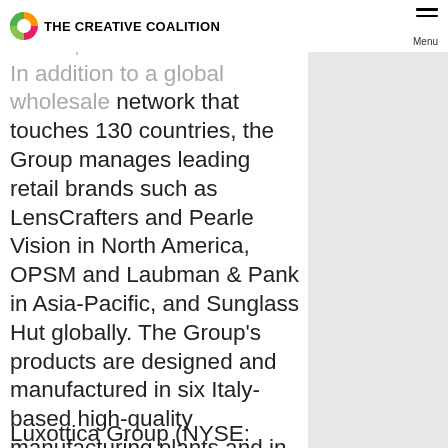THE CREATIVE COALITION | Menu
key house brands Vogue, Persol, Arnette and DEVO. In addition to a global wholesale network that touches 130 countries, the Group manages leading retail brands such as LensCrafters and Pearle Vision in North America, OPSM and Laubman & Pank in Asia-Pacific, and Sunglass Hut globally. The Group's products are designed and manufactured in six Italy-based high-quality manufacturing plants and in the only two China-based plants wholly-owned by a premium eyewear manufacturer. For fiscal year 2006,
Luxottica Group (NYSE: LUX;